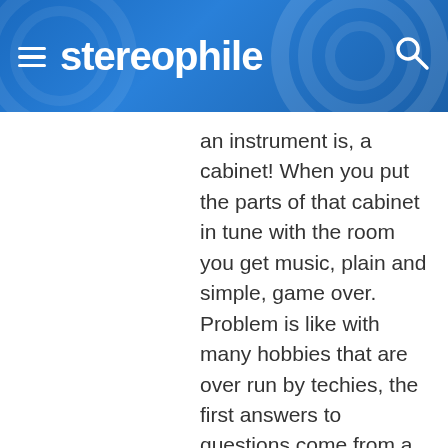stereophile
an instrument is, a cabinet! When you put the parts of that cabinet in tune with the room you get music, plain and simple, game over. Problem is like with many hobbies that are over run by techies, the first answers to questions come from a different part of the brain that sometimes can cause more problems than need to be. Just like this industry has over thinkers in the technical department